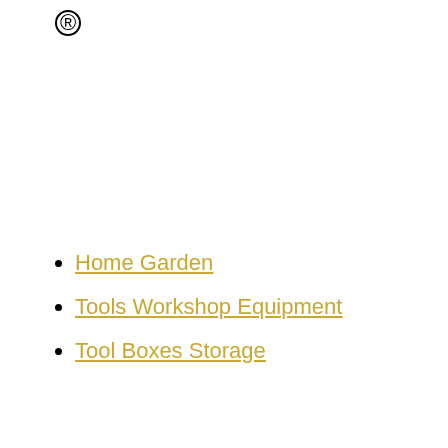[Figure (logo): Registered trademark symbol (circled R) in black]
Home Garden
Tools Workshop Equipment
Tool Boxes Storage